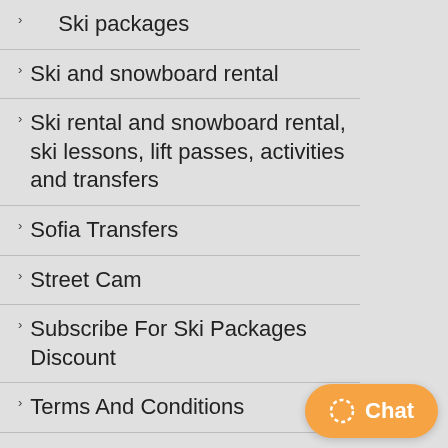Ski packages
Ski and snowboard rental
Ski rental and snowboard rental, ski lessons, lift passes, activities and transfers
Sofia Transfers
Street Cam
Subscribe For Ski Packages Discount
Terms And Conditions
Ski Hire, Lessons and Lift Passes
Thank you
Weather
Weather Summary
Web Cams
liveqcamfix.html
Web Cam Bansko